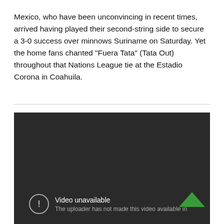Mexico, who have been unconvincing in recent times, arrived having played their second-string side to secure a 3-0 success over minnows Suriname on Saturday. Yet the home fans chanted “Fuera Tata” (Tata Out) throughout that Nations League tie at the Estadio Corona in Coahuila.
[Figure (screenshot): Embedded video player showing a dark background with a 'Video unavailable' message. The text reads: 'The uploader has not made this video available in [region]'. A circular exclamation icon is visible on the left. A green upward chevron arrow appears in the bottom right corner.]